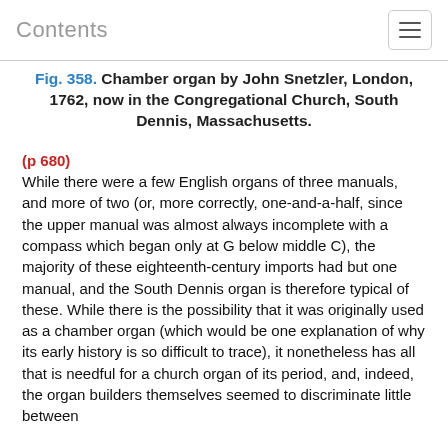Contents
Fig. 358. Chamber organ by John Snetzler, London, 1762, now in the Congregational Church, South Dennis, Massachusetts.
(p 680) While there were a few English organs of three manuals, and more of two (or, more correctly, one-and-a-half, since the upper manual was almost always incomplete with a compass which began only at G below middle C), the majority of these eighteenth-century imports had but one manual, and the South Dennis organ is therefore typical of these. While there is the possibility that it was originally used as a chamber organ (which would be one explanation of why its early history is so difficult to trace), it nonetheless has all that is needful for a church organ of its period, and, indeed, the organ builders themselves seemed to discriminate little between